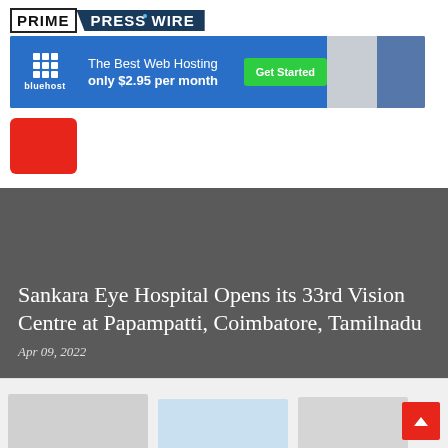PRIME PRESS WIRE
[Figure (photo): Bluehost advertisement banner: The Best Web Hosting only $2.95 per month, Get Started button, image of woman and computer]
[Figure (other): Red rounded rectangle/square shape]
Sankara Eye Hospital Opens its 33rd Vision Centre at Papampatti, Coimbatore, Tamilnadu
Apr 09, 2022
[Figure (photo): Bottom strip showing partial images of news article thumbnails]
[Figure (other): Scroll to top button - red square with upward arrow]